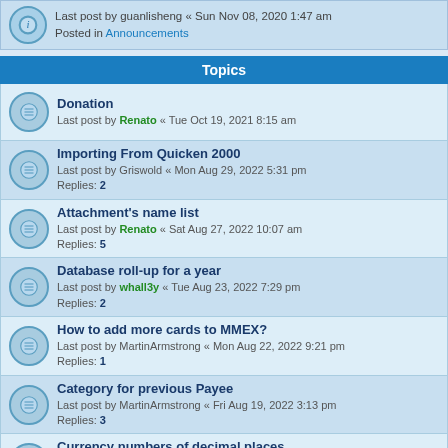Last post by guanlisheng « Sun Nov 08, 2020 1:47 am
Posted in Announcements
Topics
Donation
Last post by Renato « Tue Oct 19, 2021 8:15 am
Importing From Quicken 2000
Last post by Griswold « Mon Aug 29, 2022 5:31 pm
Replies: 2
Attachment's name list
Last post by Renato « Sat Aug 27, 2022 10:07 am
Replies: 5
Database roll-up for a year
Last post by whall3y « Tue Aug 23, 2022 7:29 pm
Replies: 2
How to add more cards to MMEX?
Last post by MartinArmstrong « Mon Aug 22, 2022 9:21 pm
Replies: 1
Category for previous Payee
Last post by MartinArmstrong « Fri Aug 19, 2022 3:13 pm
Replies: 3
Currency numbers of decimal places
Last post by MartinArmstrong « Sun Aug 07, 2022 8:04 pm
Replies: 9
How to explain to the bank support service what are the QIF, OFX and HBCI?
Last post by MartinArmstrong « Wed Aug 03, 2022 8:39 am